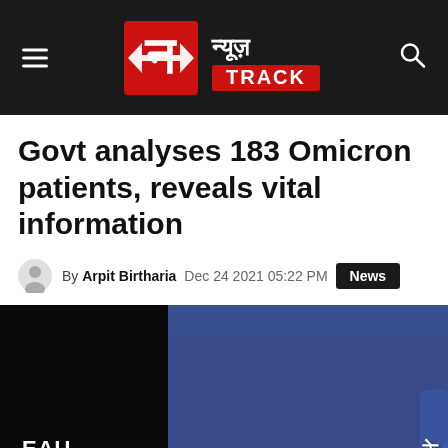News Track — न्यूज़ TRACK
Govt analyses 183 Omicron patients, reveals vital information
By Arpit Birtharia  Dec 24 2021 05:22 PM  News
[Figure (photo): A person wearing a white face mask and a blue blazer seated at a press conference. The background shows a purple/blue official banner with partial text 'EAU' on the left and 'के' (Hindi) on the right.]